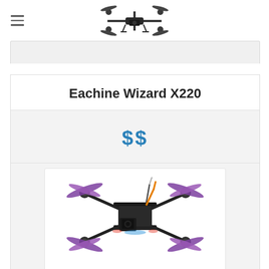Navigation header with hamburger menu and drone logo
[Figure (illustration): Gray search/filter bar below header]
Eachine Wizard X220
$$
[Figure (photo): Photo of Eachine Wizard X220 FPV racing drone with purple propellers and action camera mounted on front]